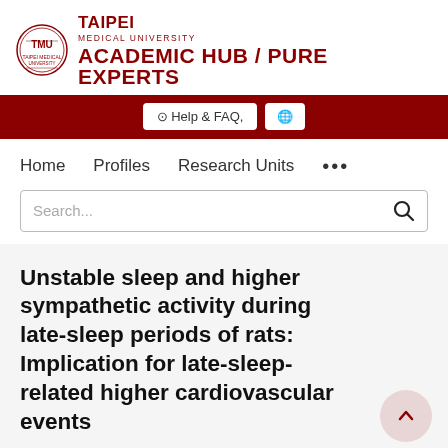TAIPEI MEDICAL UNIVERSITY ACADEMIC HUB / PURE EXPERTS
⊕ Help & FAQ,  🌐
Home   Profiles   Research Units   •••
Search...
Unstable sleep and higher sympathetic activity during late-sleep periods of rats: Implication for late-sleep-related higher cardiovascular events